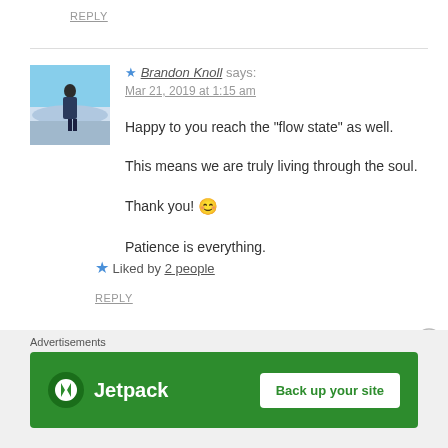REPLY
★ Brandon Knoll says:
Mar 21, 2019 at 1:15 am
Happy to you reach the "flow state" as well.

This means we are truly living through the soul.

Thank you! 😊

Patience is everything.
★ Liked by 2 people
REPLY
[Figure (photo): Avatar photo of Brandon Knoll - person standing on snowy landscape]
Advertisements
[Figure (logo): Jetpack advertisement banner with green background showing Jetpack logo and 'Back up your site' button]